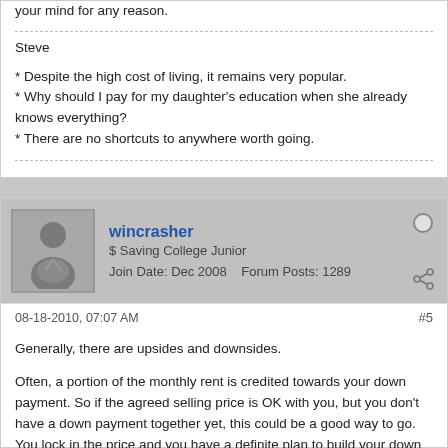your mind for any reason.
Steve
* Despite the high cost of living, it remains very popular.
* Why should I pay for my daughter's education when she already knows everything?
* There are no shortcuts to anywhere worth going.
wincrasher
$ Saving College Junior
Join Date: Dec 2008    Forum Posts: 1289
08-18-2010, 07:07 AM
#5
Generally, there are upsides and downsides.
Often, a portion of the monthly rent is credited towards your down payment. So if the agreed selling price is OK with you, but you don't have a down payment together yet, this could be a good way to go. You lock in the price and you have a definite plan to build your down payment.